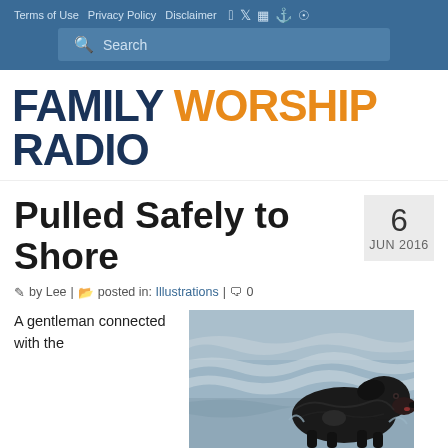Terms of Use | Privacy Policy | Disclaimer [icons] | Search
[Figure (logo): Family Worship Radio logo — FAMILY in dark blue bold, WORSHIP in orange bold, RADIO in dark blue bold, large display text]
Pulled Safely to Shore
6 JUN 2016
by Lee | posted in: Illustrations | 0
A gentleman connected with the
[Figure (photo): A large black Newfoundland dog walking through ocean waves near shore, water in background]